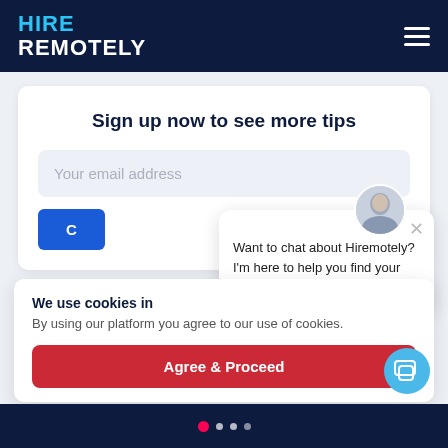HIRE REMOTELY
Sign up now to see more tips
Your email address
[Figure (screenshot): Chat popup with avatar photo of a man, close X button, and text: Want to chat about Hiremotely? I'm here to help you find your way.]
We use cookies in
By using our platform you agree to our use of cookies.
Agree & Proceed